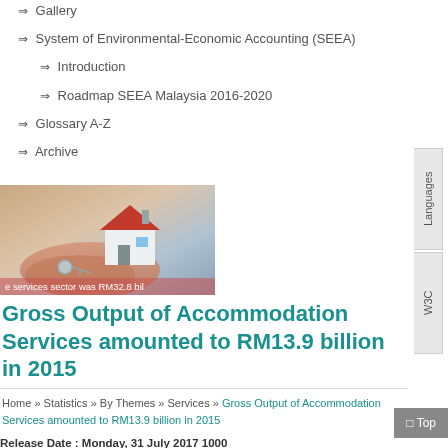⇒ Gallery
⇒ System of Environmental-Economic Accounting (SEEA)
⇒ Introduction
⇒ Roadmap SEEA Malaysia 2016-2020
⇒ Glossary A-Z
⇒ Archive
[Figure (photo): Hands holding a miniature house model with keys; overlay text: 'e services sector was RM32.8 bil']
Gross Output of Accommodation Services amounted to RM13.9 billion in 2015
Home » Statistics » By Themes » Services » Gross Output of Accommodation Services amounted to RM13.9 billion in 2015
Release Date : Monday, 31 July 2017 1000